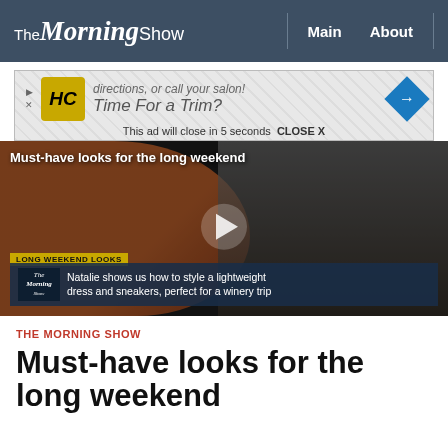The Morning Show | Main | About
[Figure (screenshot): Advertisement banner: HC logo, 'directions, or call your salon! Time For a Trim?' with blue arrow and close notice 'This ad will close in 5 seconds CLOSE X']
[Figure (screenshot): Video thumbnail showing 'Must-have looks for the long weekend' with woman holding orange sneaker, play button overlay, lower third showing 'LONG WEEKEND LOOKS' and 'Natalie shows us how to style a lightweight dress and sneakers, perfect for a winery trip']
THE MORNING SHOW
Must-have looks for the long weekend